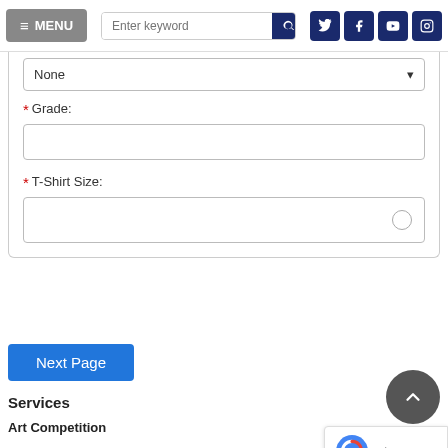[Figure (screenshot): Navigation bar with MENU button, search box, and social media icons (Twitter, Facebook, YouTube, Instagram)]
None
* Grade:
* T-Shirt Size:
Next Page
Services
Art Competition
Commendations and Greetings
Flags